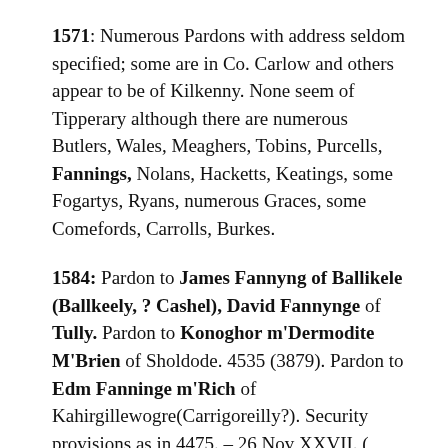1571: Numerous Pardons with address seldom specified; some are in Co. Carlow and others appear to be of Kilkenny. None seem of Tipperary although there are numerous Butlers, Wales, Meaghers, Tobins, Purcells, Fannings, Nolans, Hacketts, Keatings, some Fogartys, Ryans, numerous Graces, some Comefords, Carrolls, Burkes.
1584: Pardon to James Fannyng of Ballikele (Ballkeely, ? Cashel), David Fannynge of Tully. Pardon to Konoghor m'Dermodite M'Brien of Sholdode. 4535 (3879). Pardon to Edm Fanninge m'Rich of Kahirgillewogre(Carrigoreilly?). Security provisions as in 4475. – 26 Nov XXVII. ( Same